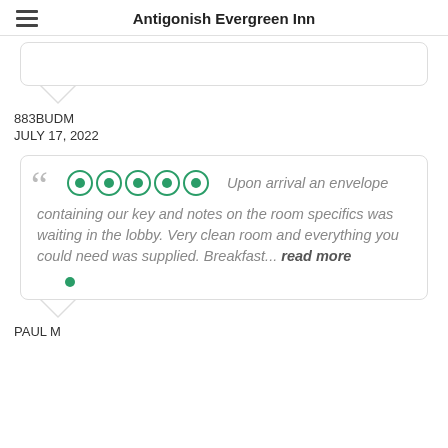Antigonish Evergreen Inn
883BUDM
JULY 17, 2022
Upon arrival an envelope containing our key and notes on the room specifics was waiting in the lobby. Very clean room and everything you could need was supplied. Breakfast... read more
PAUL M